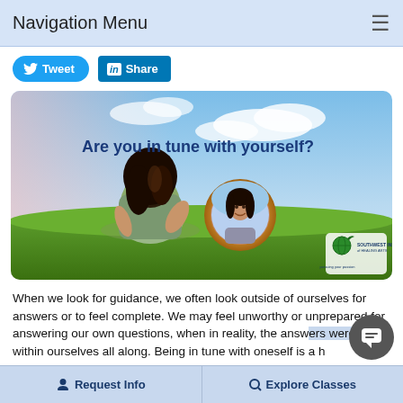Navigation Menu
[Figure (screenshot): Twitter Tweet button and LinkedIn Share button]
[Figure (photo): Woman sitting in a grassy field holding a circular mirror reflecting her smiling face. Text overlay reads: 'Are you in tune with yourself?' Southwest Institute of Healing Arts logo in bottom right.]
When we look for guidance, we often look outside of ourselves for answers or to feel complete. We may feel unworthy or unprepared for answering our own questions, when in reality, the answers were within ourselves all along. Being in tune with oneself is a h...
Request Info    Explore Classes